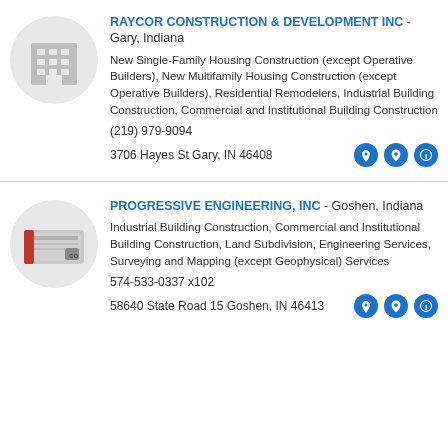RAYCOR CONSTRUCTION & DEVELOPMENT INC - Gary, Indiana
New Single-Family Housing Construction (except Operative Builders), New Multifamily Housing Construction (except Operative Builders), Residential Remodelers, Industrial Building Construction, Commercial and Institutional Building Construction
(219) 979-9094
3706 Hayes St Gary, IN 46408
PROGRESSIVE ENGINEERING, INC - Goshen, Indiana
Industrial Building Construction, Commercial and Institutional Building Construction, Land Subdivision, Engineering Services, Surveying and Mapping (except Geophysical) Services
574-533-0337 x102
58640 State Road 15 Goshen, IN 46413